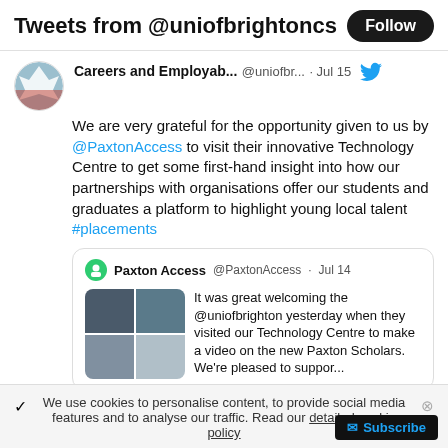Tweets from @uniofbrightoncs
Careers and Employab... @uniofbr... · Jul 15
We are very grateful for the opportunity given to us by @PaxtonAccess to visit their innovative Technology Centre to get some first-hand insight into how our partnerships with organisations offer our students and graduates a platform to highlight young local talent #placements
Paxton Access @PaxtonAccess · Jul 14
It was great welcoming the @uniofbrighton yesterday when they visited our Technology Centre to make a video on the new Paxton Scholars. We're pleased to suppor...
We use cookies to personalise content, to provide social media features and to analyse our traffic. Read our detailed cookie policy